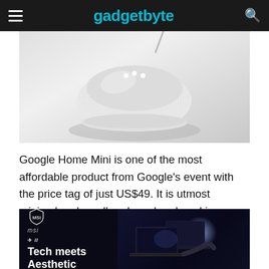gadgetbyte
[Figure (photo): Google Home Mini smart speaker device on white/grey gradient background - small round puck-shaped speaker in white/chalk color with a power cable]
Google Home Mini is one of the most affordable product from Google's event with the price tag of just US$49. It is utmost minimal and small and can be placed in any corner of your home. More of these can be used in multiple rooms as you can broadcast messages to other speakers from a speaker.
[Figure (photo): MSI advertisement banner with dark background showing laptops and the tagline 'Tech meets Aesthetic' with MSI and laptop product logos]